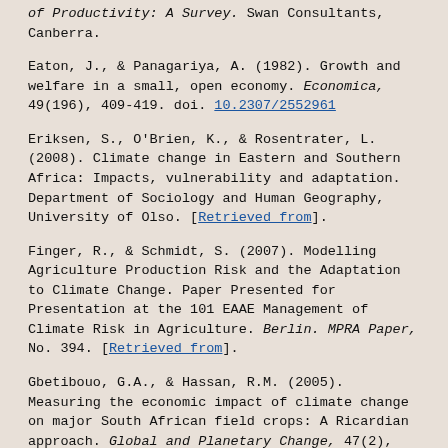of Productivity: A Survey. Swan Consultants, Canberra.
Eaton, J., & Panagariya, A. (1982). Growth and welfare in a small, open economy. Economica, 49(196), 409-419. doi. 10.2307/2552961
Eriksen, S., O'Brien, K., & Rosentrater, L. (2008). Climate change in Eastern and Southern Africa: Impacts, vulnerability and adaptation. Department of Sociology and Human Geography, University of Olso. [Retrieved from].
Finger, R., & Schmidt, S. (2007). Modelling Agriculture Production Risk and the Adaptation to Climate Change. Paper Presented for Presentation at the 101 EAAE Management of Climate Risk in Agriculture. Berlin. MPRA Paper, No. 394. [Retrieved from].
Gbetibouo, G.A., & Hassan, R.M. (2005). Measuring the economic impact of climate change on major South African field crops: A Ricardian approach. Global and Planetary Change, 47(2), 143-152. doi. 10.1016/j.gloplacha.2004.10.009